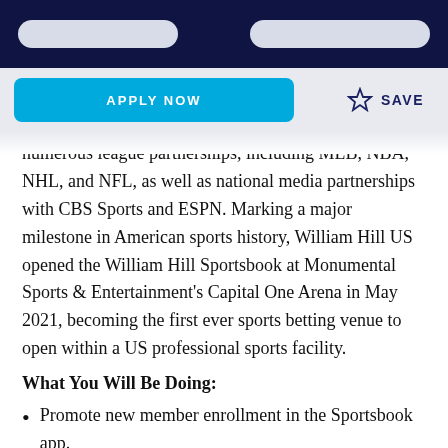[navigation bar with two pill buttons]
APPLY NOW
SAVE
numerous league partnerships, including MLB, NBA, NHL, and NFL, as well as national media partnerships with CBS Sports and ESPN. Marking a major milestone in American sports history, William Hill US opened the William Hill Sportsbook at Monumental Sports & Entertainment's Capital One Arena in May 2021, becoming the first ever sports betting venue to open within a US professional sports facility.
What You Will Be Doing:
Promote new member enrollment in the Sportsbook app.